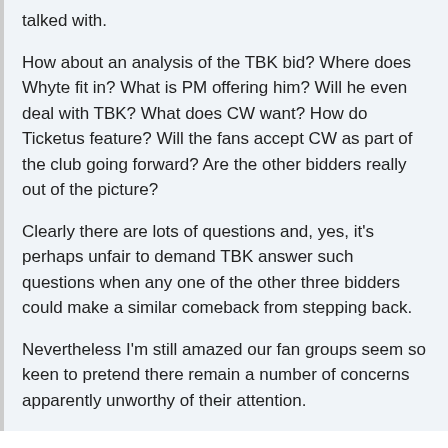talked with.
How about an analysis of the TBK bid? Where does Whyte fit in? What is PM offering him? Will he even deal with TBK? What does CW want? How do Ticketus feature? Will the fans accept CW as part of the club going forward? Are the other bidders really out of the picture?
Clearly there are lots of questions and, yes, it's perhaps unfair to demand TBK answer such questions when any one of the other three bidders could make a similar comeback from stepping back.
Nevertheless I'm still amazed our fan groups seem so keen to pretend there remain a number of concerns apparently unworthy of their attention.
A cva agreement is for a company to move forward with no debts! What mini is proposing is trying to do a cva and move forward with a £10m debt.
Maybe just maybe mini with his link up (and telling the world) has